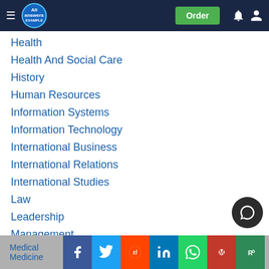All Answers - navbar with logo, Order button, bell and user icons
Health
Health And Social Care
History
Human Resources
Information Systems
Information Technology
International Business
International Relations
International Studies
Law
Leadership
Management
Marketing
Mechanics
Media
Medical
Medicine
Social share bar: Facebook, Twitter, Reddit, LinkedIn, WhatsApp, Mendeley, ResearchGate